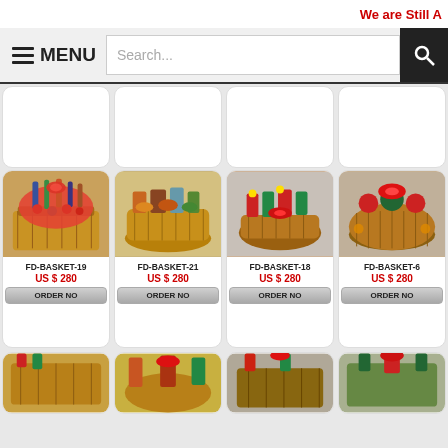We are Still A
[Figure (screenshot): Navigation bar with hamburger menu icon, MENU label, search box with placeholder text 'Search...', and black search button with magnifying glass icon]
[Figure (photo): Partial product cards row - tops cut off, white rounded cards on gray background]
[Figure (photo): Gift basket product FD-BASKET-19 - colorful gift basket with candies and treats]
FD-BASKET-19
US $ 280
ORDER NO
[Figure (photo): Gift basket product FD-BASKET-21 - large wicker gift basket with gourmet foods]
FD-BASKET-21
US $ 280
ORDER NO
[Figure (photo): Gift basket product FD-BASKET-18 - Christmas themed gift basket]
FD-BASKET-18
US $ 280
ORDER NO
[Figure (photo): Gift basket product FD-BASKET-6 - festive decorated gift basket]
FD-BASKET-6
US $ 280
ORDER NO
[Figure (photo): Partial bottom row of product card images - gift baskets partially visible]